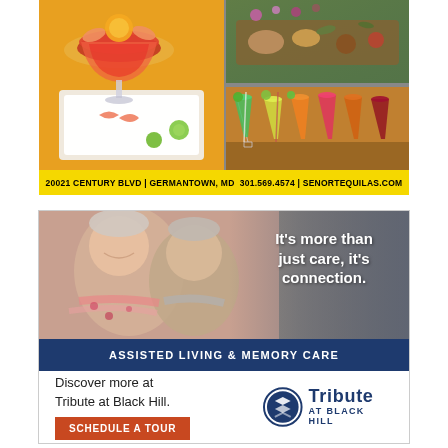[Figure (photo): Three food/drink photos arranged in a collage: left shows a shrimp cocktail or seafood dish with citrus garnish on a white tray; top-right shows an appetizer platter with various items; bottom-right shows colorful cocktails/margaritas in glasses.]
20021 CENTURY BLVD | GERMANTOWN, MD  301.569.4574 | SENORTEQUILAS.COM
[Figure (photo): Two elderly women laughing and embracing, shown from shoulders up. Warm, joyful expression. Photo has a gradient overlay with the text 'It's more than just care, it's connection.' on the right side.]
ASSISTED LIVING & MEMORY CARE
Discover more at Tribute at Black Hill.
[Figure (logo): Tribute at Black Hill logo: circular arrow/chevron icon in navy blue on left, with 'TRIBUTE' in large navy bold text and 'AT BLACK HILL' in smaller navy text below.]
SCHEDULE A TOUR